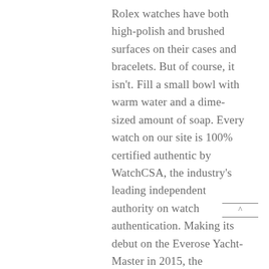Rolex watches have both high-polish and brushed surfaces on their cases and bracelets. But of course, it isn't. Fill a small bowl with warm water and a dime-sized amount of soap. Every watch on our site is 100% certified authentic by WatchCSA, the industry's leading independent authority on watch authentication. Making its debut on the Everose Yacht-Master in 2015, the Oysterflex may look like an ordinary black rubber strap